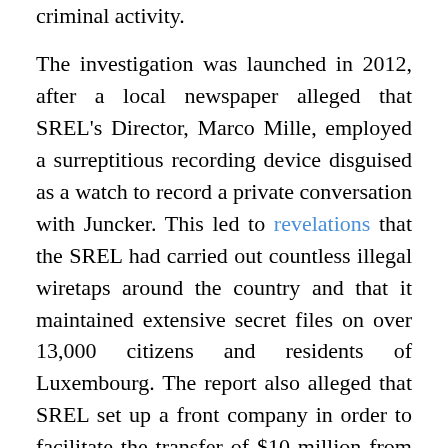criminal activity.

The investigation was launched in 2012, after a local newspaper alleged that SREL's Director, Marco Mille, employed a surreptitious recording device disguised as a watch to record a private conversation with Juncker. This led to revelations that the SREL had carried out countless illegal wiretaps around the country and that it maintained extensive secret files on over 13,000 citizens and residents of Luxembourg. The report also alleged that SREL set up a front company in order to facilitate the transfer of $10 million from a corrupt Russian businessman to a Spanish intelligence operative, as a personal favor to the Russian. The probe also examined, but did not confirm, allegations that the Grand Duke of Luxembourg had been a trusted informant of MI6, Britain's Secret Intelligence Service. The release of the report